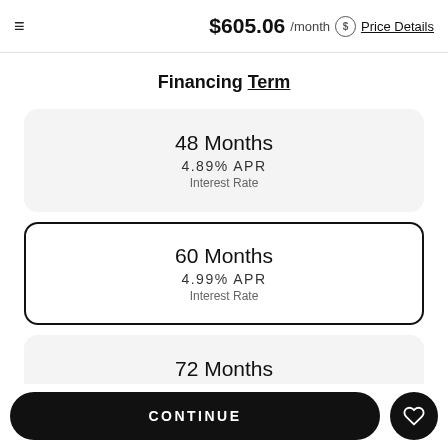$605.06 /month  Price Details
Financing Term
48 Months
4.89% APR
Interest Rate
60 Months
4.99% APR
Interest Rate
72 Months
5.49% APR
CONTINUE